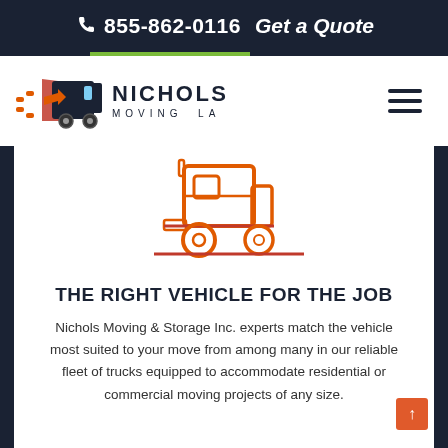855-862-0116  Get a Quote
[Figure (logo): Nichols Moving LA logo with stylized moving truck and speed lines in red/orange]
[Figure (illustration): Orange line-art icon of a moving truck/semi-truck]
THE RIGHT VEHICLE FOR THE JOB
Nichols Moving & Storage Inc. experts match the vehicle most suited to your move from among many in our reliable fleet of trucks equipped to accommodate residential or commercial moving projects of any size.